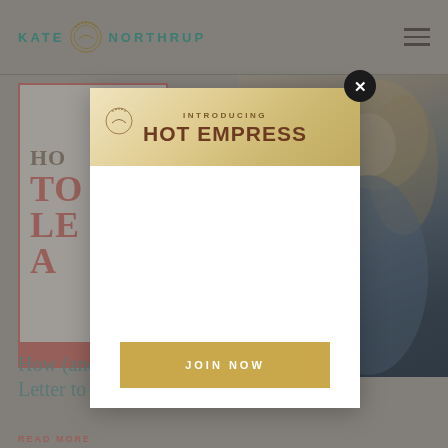[Figure (screenshot): Kate Northrup website header with teal logo text and hamburger menu icon]
[Figure (screenshot): Website page background showing partially visible book cover mockup with salmon/coral text 'HO TO LE A' and a photo of a woman with blonde hair on right side]
[Figure (screenshot): Modal popup overlay with 'INTRODUCING HOT EMPRESS' header in brown/tan gradient, white body area, gold JOIN NOW button, and black X close button]
How (and why) to Write a Letter to an Angel
READ MORE